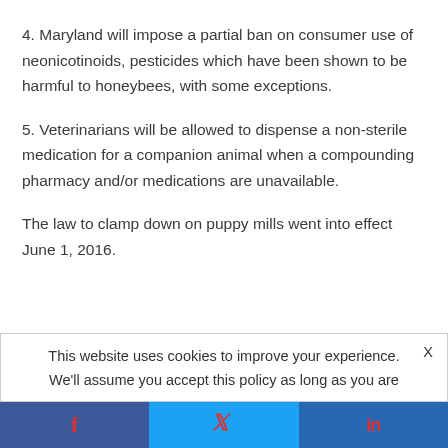4. Maryland will impose a partial ban on consumer use of neonicotinoids, pesticides which have been shown to be harmful to honeybees, with some exceptions.
5. Veterinarians will be allowed to dispense a non-sterile medication for a companion animal when a compounding pharmacy and/or medications are unavailable.
The law to clamp down on puppy mills went into effect June 1, 2016.
This website uses cookies to improve your experience.   X
We'll assume you accept this policy as long as you are